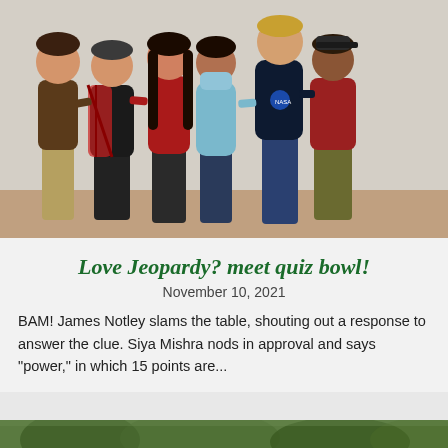[Figure (photo): Group photo of six students standing together in front of a light-colored wall, smiling. From left to right: a young man in a brown hoodie and khaki pants, a woman in a black top with a red plaid shirt, a woman in a red hoodie with dark hair, a woman in a light blue shirt wearing a mask, a tall young man in a dark NASA hoodie and jeans, and a young man in a red polo shirt and olive pants.]
Love Jeopardy? meet quiz bowl!
November 10, 2021
BAM! James Notley slams the table, shouting out a response to answer the clue. Siya Mishra nods in approval and says "power," in which 15 points are...
[Figure (photo): Partial view of another photo at the bottom of the page, showing what appears to be an outdoor scene with trees.]